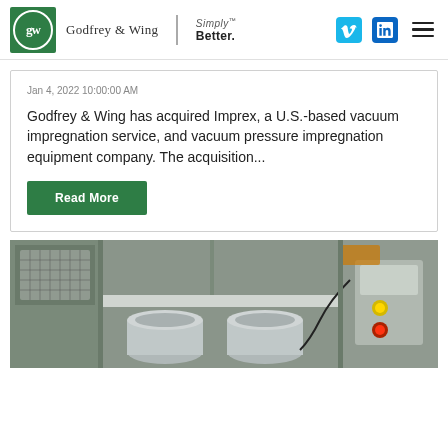Godfrey & Wing | Simply Better.
Jan 4, 2022 10:00:00 AM
Godfrey & Wing has acquired Imprex, a U.S.-based vacuum impregnation service, and vacuum pressure impregnation equipment company. The acquisition...
Read More
[Figure (photo): Industrial vacuum impregnation equipment with stainless steel chambers and control panel in a manufacturing facility]